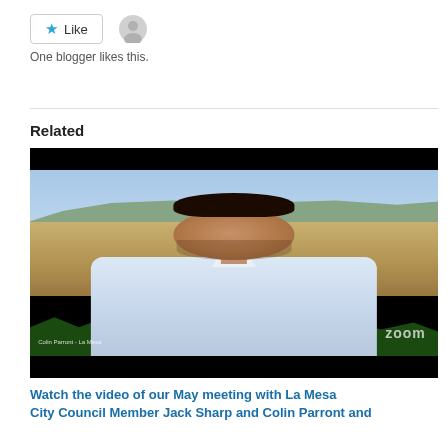[Figure (other): Like button with star icon and user avatar icon]
One blogger likes this.
Related
[Figure (photo): Video screenshot of a man in a white shirt smiling, with a city and hills background, Zoom watermark visible, name tag reading 'Colin Parront - La Mesa']
Watch the video of our May meeting with La Mesa City Council Member Jack Sharp and Colin Parront and